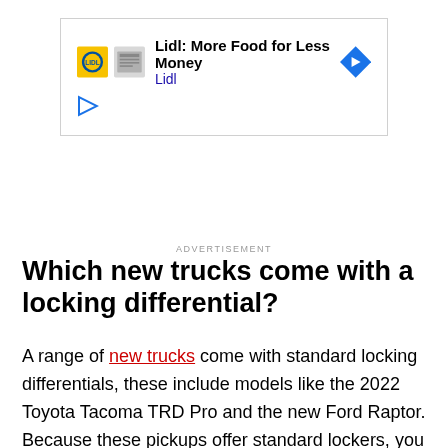[Figure (other): Advertisement banner for Lidl: More Food for Less Money, with Lidl logo icons and a navigation arrow icon]
ADVERTISEMENT
Which new trucks come with a locking differential?
A range of new trucks come with standard locking differentials, these include models like the 2022 Toyota Tacoma TRD Pro and the new Ford Raptor. Because these pickups offer standard lockers, you do not have to worry about looking to aftermarket options. Still, some folks prefer to modify their 4x4s with components that they trust. So it is possible to